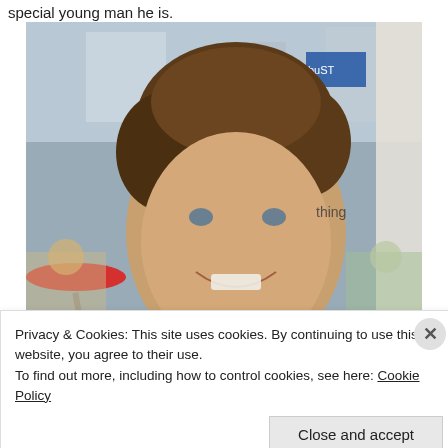special young man he is.
[Figure (photo): A young man with curly brown hair smiling, photographed outdoors at a busy town square or market area with umbrellas, buildings, and other people in background.]
Privacy & Cookies: This site uses cookies. By continuing to use this website, you agree to their use.
To find out more, including how to control cookies, see here: Cookie Policy
Close and accept